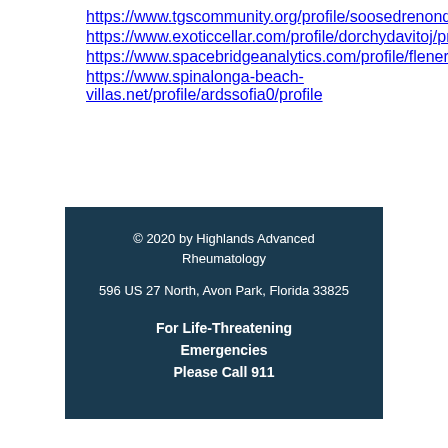https://www.tgscommunity.org/profile/soosedrenond/profile
https://www.exoticcellar.com/profile/dorchydavitoj/profile
https://www.spacebridgeanalytics.com/profile/flenerlozadaa/profile
https://www.spinalonga-beach-villas.net/profile/ardssofia0/profile
© 2020 by Highlands Advanced Rheumatology
596 US 27 North, Avon Park, Florida 33825
For Life-Threatening Emergencies Please Call 911